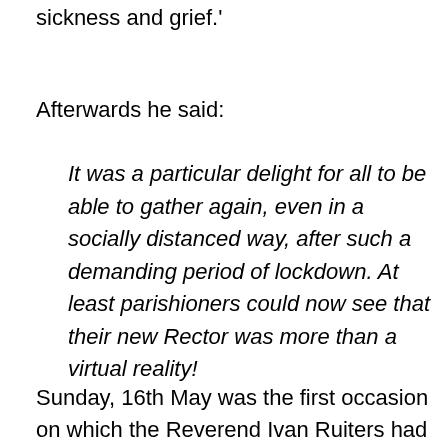sickness and grief.'
Afterwards he said:
It was a particular delight for all to be able to gather again, even in a socially distanced way, after such a demanding period of lockdown. At least parishioners could now see that their new Rector was more than a virtual reality!
Sunday, 16th May was the first occasion on which the Reverend Ivan Ruiters had the